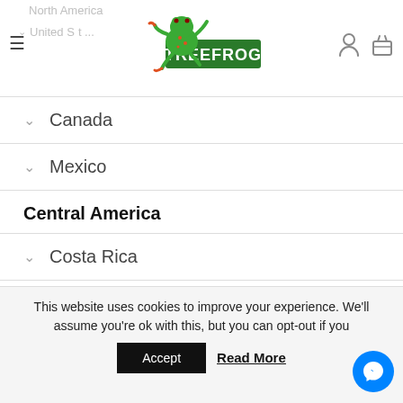[Figure (logo): TreeFrog logo with green frog illustration and green banner with white TREEFROG text]
North America
United S...
Canada
Mexico
Central America
Costa Rica
Panama
South America
This website uses cookies to improve your experience. We'll assume you're ok with this, but you can opt-out if you
Accept
Read More